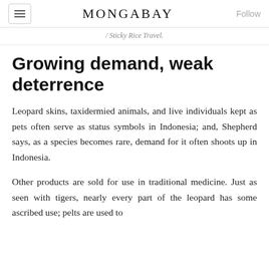MONGABAY
/ Sticky Rice Travel.
Growing demand, weak deterrence
Leopard skins, taxidermied animals, and live individuals kept as pets often serve as status symbols in Indonesia; and, Shepherd says, as a species becomes rare, demand for it often shoots up in Indonesia.
Other products are sold for use in traditional medicine. Just as seen with tigers, nearly every part of the leopard has some ascribed use; pelts are used to